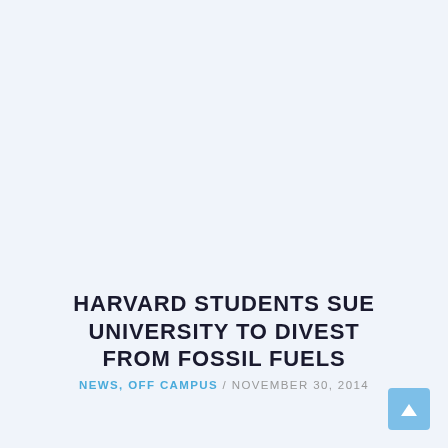HARVARD STUDENTS SUE UNIVERSITY TO DIVEST FROM FOSSIL FUELS
NEWS, OFF CAMPUS / NOVEMBER 30, 2014